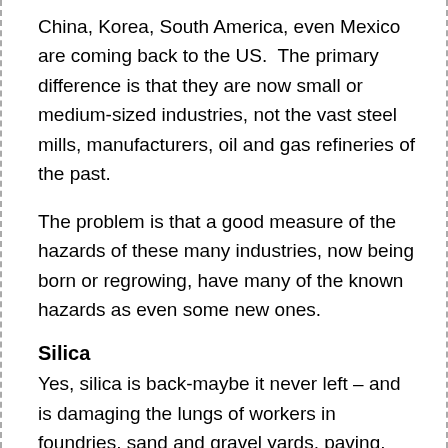China, Korea, South America, even Mexico are coming back to the US.  The primary difference is that they are now small or medium-sized industries, not the vast steel mills, manufacturers, oil and gas refineries of the past.
The problem is that a good measure of the hazards of these many industries, now being born or regrowing, have many of the known hazards as even some new ones.
Silica
Yes, silica is back-maybe it never left – and is damaging the lungs of workers in foundries, sand and gravel yards, paving, building